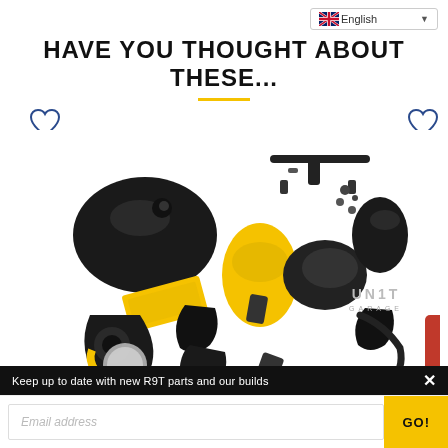English
HAVE YOU THOUGHT ABOUT THESE...
[Figure (photo): Exploded view of BMW R9T motorcycle parts and accessories including tank, handlebars, seat, fairings, exhaust, and other components on white background. UN1T GARAGE logo visible.]
Keep up to date with new R9T parts and our builds